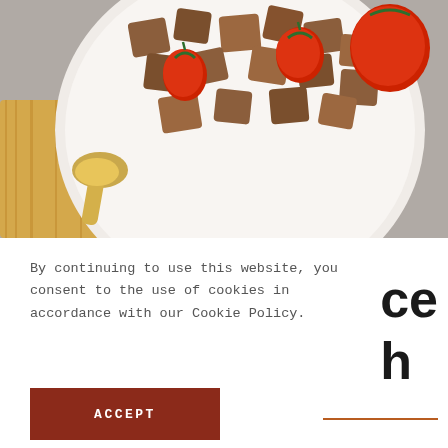[Figure (photo): Overhead photo of a white bowl filled with toasted bread cubes and fresh strawberries, placed on a wooden cutting board with a gold spoon beside it, on a gray stone surface.]
By continuing to use this website, you consent to the use of cookies in accordance with our Cookie Policy.
ce h
ACCEPT